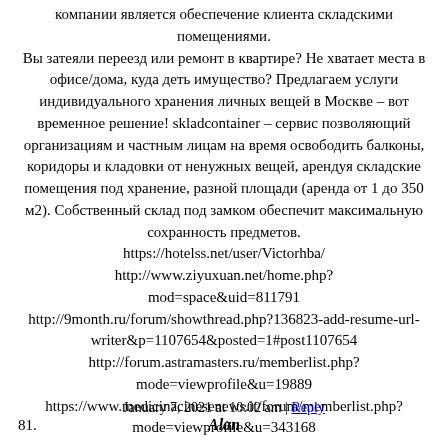компании является обеспечение клиента складскими помещениями.
Вы затеяли переезд или ремонт в квартире? Не хватает места в офисе/дома, куда деть имущество? Предлагаем услуги индивидуального хранения личных вещей в Москве – вот временное решение! skladcontainer – сервис позволяющий организациям и частным лицам на время освободить балконы, коридоры и кладовки от ненужных вещей, арендуя складские помещения под хранение, разной площади (аренда от 1 до 350 м2). Собственный склад под замком обеспечит максимальную сохранность предметов.
https://hotelss.net/user/Victorhba/
http://www.ziyuxuan.net/home.php?mod=space&uid=811791
http://9month.ru/forum/showthread.php?136823-add-resume-url-writer&p=1107654&posted=1#post1107654
http://forum.astramasters.ru/memberlist.php?mode=viewprofile&u=19889
https://www.medicinacinesenews.it/forum/memberlist.php?mode=viewprofile&u=343168
January 7, 2021 at 10:02 am | Reply
81. Alan